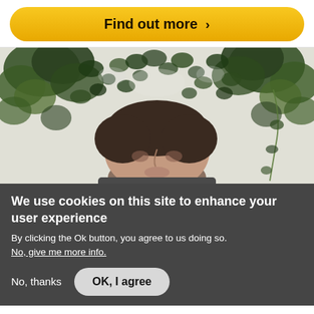[Figure (other): Yellow rounded button with text 'Find out more >' on a white background]
[Figure (photo): Close-up photo of a person looking upward, surrounded by green leafy plants/ivy against a light background]
We use cookies on this site to enhance your user experience
By clicking the Ok button, you agree to us doing so.
No, give me more info.
No, thanks
OK, I agree